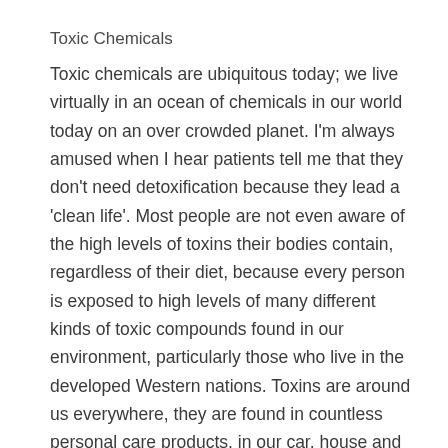Toxic Chemicals
Toxic chemicals are ubiquitous today; we live virtually in an ocean of chemicals in our world today on an over crowded planet. I'm always amused when I hear patients tell me that they don't need detoxification because they lead a 'clean life'. Most people are not even aware of the high levels of toxins their bodies contain, regardless of their diet, because every person is exposed to high levels of many different kinds of toxic compounds found in our environment, particularly those who live in the developed Western nations. Toxins are around us everywhere, they are found in countless personal care products, in our car, house and office interiors such as upholstery, carpets, etc., in garden chemicals and household cleansers, pharmaceutical drugs, plastics, paints, different agricultural chemicals like organophosphates, carbamates, fungicides, and